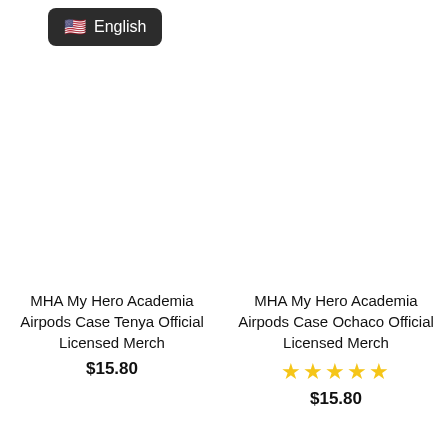[Figure (screenshot): Language selector button showing US flag emoji and text 'English' on dark background]
MHA My Hero Academia Airpods Case Tenya Official Licensed Merch
$15.80
MHA My Hero Academia Airpods Case Ochaco Official Licensed Merch
[Figure (other): Five gold star rating]
$15.80